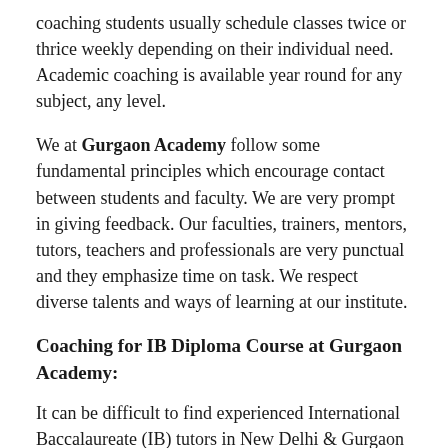coaching students usually schedule classes twice or thrice weekly depending on their individual need. Academic coaching is available year round for any subject, any level.
We at Gurgaon Academy follow some fundamental principles which encourage contact between students and faculty. We are very prompt in giving feedback. Our faculties, trainers, mentors, tutors, teachers and professionals are very punctual and they emphasize time on task. We respect diverse talents and ways of learning at our institute.
Coaching for IB Diploma Course at Gurgaon Academy:
It can be difficult to find experienced International Baccalaureate (IB) tutors in New Delhi & Gurgaon NCR India. The course is only offered by a relatively small number of schools in New Delhi & Gurgaon NCR India, meaning that there is a relatively small